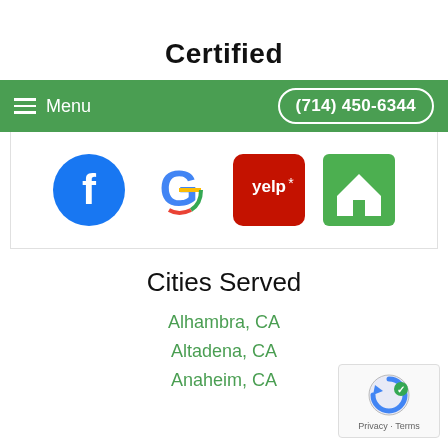Certified
[Figure (screenshot): Navigation bar with green background showing hamburger menu icon and 'Menu' text on left, phone number '(714) 450-6344' button on right]
[Figure (infographic): Four social/review platform logos: Facebook (blue circle with white 'f'), Google (colorful G), Yelp (red square with yelp* text), Houzz (green square with white 'h')]
Cities Served
Alhambra, CA
Altadena, CA
Anaheim, CA